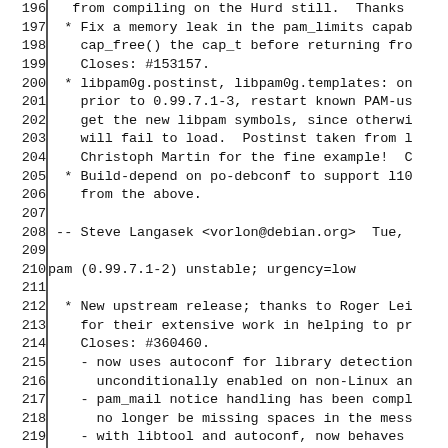Code/changelog listing lines 196-225
196: from compiling on the Hurd still.  Thanks
197:  * Fix a memory leak in the pam_limits capab
198:    cap_free() the cap_t before returning fro
199:    Closes: #153157.
200:  * libpam0g.postinst, libpam0g.templates: on
201:    prior to 0.99.7.1-3, restart known PAM-us
202:    get the new libpam symbols, since otherwi
203:    will fail to load.  Postinst taken from l
204:    Christoph Martin for the fine example!  C
205:  * Build-depend on po-debconf to support l10
206:    from the above.
207: (blank)
208:  -- Steve Langasek <vorlon@debian.org>  Tue,
209: (blank)
210: pam (0.99.7.1-2) unstable; urgency=low
211: (blank)
212:  * New upstream release; thanks to Roger Lei
213:    for their extensive work in helping to pr
214:    Closes: #360460.
215:    - now uses autoconf for library detection
216:      unconditionally enabled on non-Linux an
217:    - pam_mail notice handling has been compl
218:      no longer be missing spaces in the mess
219:    - with libtool and autoconf, now behaves
220:      platforms.  Closes: #165067.
221:    - the source now builds without warnings.
222:    - uses automake instead of hand-rolled ma
223:      bugs.  Closes: #241661, #328084.
224:    - pam_mkhomedir now creates directories m
225:      Closes: #178225.